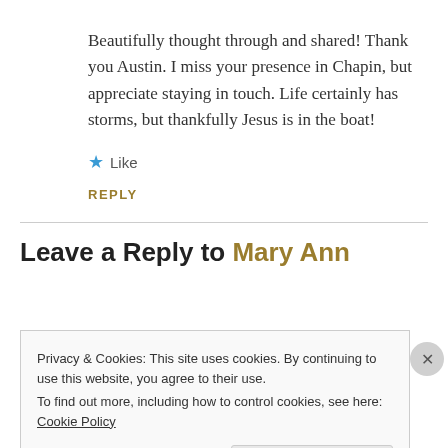Beautifully thought through and shared! Thank you Austin. I miss your presence in Chapin, but appreciate staying in touch. Life certainly has storms, but thankfully Jesus is in the boat!
★ Like
REPLY
Leave a Reply to Mary Ann
Privacy & Cookies: This site uses cookies. By continuing to use this website, you agree to their use. To find out more, including how to control cookies, see here: Cookie Policy
Close and accept